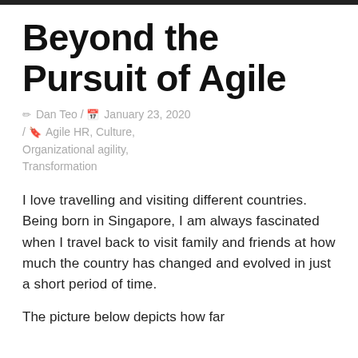Beyond the Pursuit of Agile
✏ Dan Teo / 📅 January 23, 2020 / 🔖 Agile HR, Culture, Organizational agility, Transformation
I love travelling and visiting different countries. Being born in Singapore, I am always fascinated when I travel back to visit family and friends at how much the country has changed and evolved in just a short period of time.
The picture below depicts how far